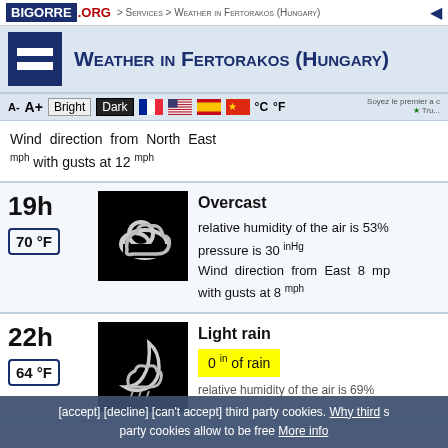BIGORRE .ORG > Services > Weather in Fertorakos (Hungary)
Weather in Fertorakos (Hungary)
A- A+ Bright Dark °C °F
Wind direction from North East mph with gusts at 12 mph
19h | 70 °F | Overcast | relative humidity of the air is 53% | pressure is 30 inHg | Wind direction from East 8 mph with gusts at 8 mph
22h | 64 °F | Light rain | 0 in of rain | relative humidity of the air is 69%
[accept] [decline] [can't accept] third party cookies. Why third party cookies allow to be free More info